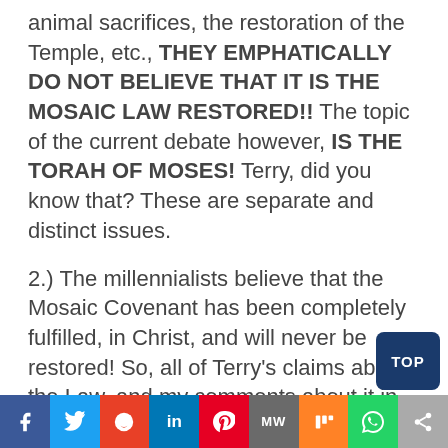animal sacrifices, the restoration of the Temple, etc., THEY EMPHATICALLY DO NOT BELIEVE THAT IT IS THE MOSAIC LAW RESTORED!! The topic of the current debate however, IS THE TORAH OF MOSES! Terry, did you know that? These are separate and distinct issues.
2.) The millennialists believe that the Mosaic Covenant has been completely fulfilled, in Christ, and will never be restored! So, all of Terry's claims about the Law, and my comments about it in regard to the millennium are totally, 100% irrelevant to this debate. The mille… law and the Torah under discussion in th…